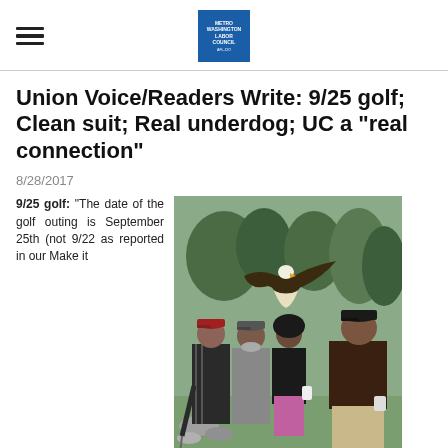Metro Washington Labor Council logo
Union Voice/Readers Write: 9/25 golf; Clean suit; Real underdog; UC a "real connection"
8/28/2017
9/25 golf: "The date of the golf outing is September 25th (not 9/22 as reported in our Make it
[Figure (photo): Four people posing outdoors on a golf course with a bald eagle sculpture or live eagle visible above them. Trees visible in background.]